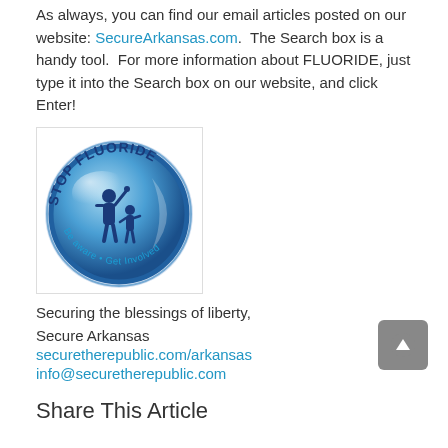As always, you can find our email articles posted on our website: SecureArkansas.com.  The Search box is a handy tool.  For more information about FLUORIDE, just type it into the Search box on our website, and click Enter!
[Figure (logo): Stop Fluoride circular logo with blue globe, adult and child figures, text 'STOP FLUORIDE' at top and 'Be aware • Get Involved' at bottom]
Securing the blessings of liberty,
Secure Arkansas
securetherepublic.com/arkansas
info@securetherepublic.com
Share This Article